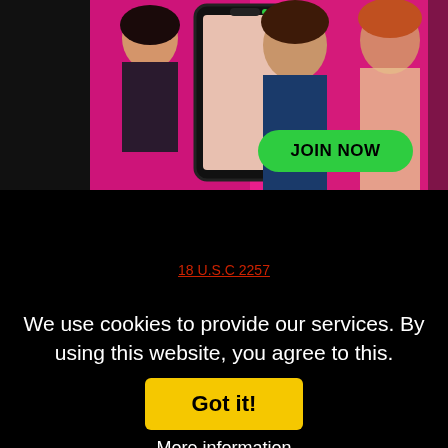[Figure (photo): Promotional banner with three women on a pink/black background, with a phone in the center. A green 'JOIN NOW' button appears at bottom right.]
18 U.S.C 2257
We use cookies to provide our services. By using this website, you agree to this.
Got it!
More information